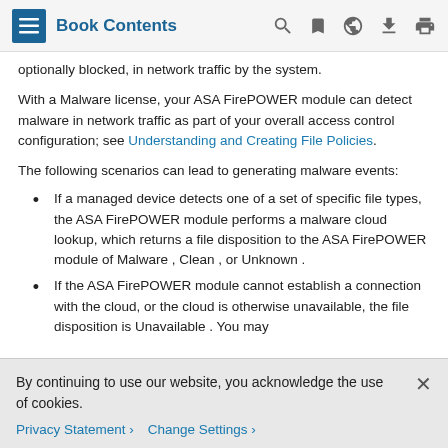Book Contents
optionally blocked, in network traffic by the system.
With a Malware license, your ASA FirePOWER module can detect malware in network traffic as part of your overall access control configuration; see Understanding and Creating File Policies.
The following scenarios can lead to generating malware events:
If a managed device detects one of a set of specific file types, the ASA FirePOWER module performs a malware cloud lookup, which returns a file disposition to the ASA FirePOWER module of Malware , Clean , or Unknown .
If the ASA FirePOWER module cannot establish a connection with the cloud, or the cloud is otherwise unavailable, the file disposition is Unavailable . You may
By continuing to use our website, you acknowledge the use of cookies.
Privacy Statement > Change Settings >